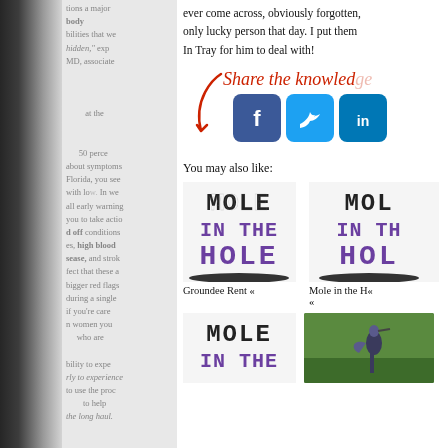ever come across, obviously forgotten, only lucky person that day. I put them In Tray for him to deal with!
[Figure (infographic): Share the knowledge social sharing prompt with red cursive text and arrow, with Facebook, Twitter, and LinkedIn buttons]
You may also like:
[Figure (illustration): Book cover: MOLE IN THE HOLE (distressed stamp style text, black and purple)]
Groundee Rent «
[Figure (illustration): Book cover: MOLE IN THE HOLE (partially visible second copy)]
Mole in the H«
[Figure (illustration): Book cover: MOLE IN THE (partially visible third copy at bottom)]
[Figure (photo): Photo of a bird (possibly heron) in green grass]